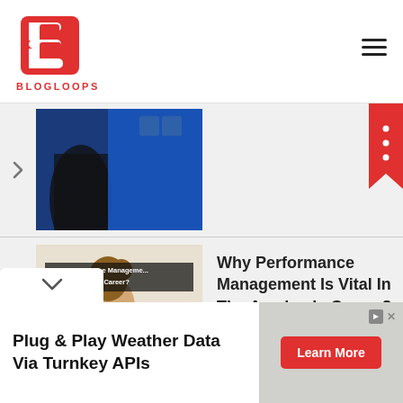[Figure (logo): Blogloops logo: red shield/letter B icon with white cutout, text BLOGLOOPS in red below]
[Figure (photo): Partially visible blog post card with dark blue background image]
[Figure (photo): Blog post thumbnail showing student in yellow plaid shirt studying with text overlay 'Why Performance Management In The Academic Career']
Why Performance Management Is Vital In The Academic Career?
[Figure (infographic): Advertisement banner: Plug & Play Weather Data Via Turnkey APIs with Learn More button]